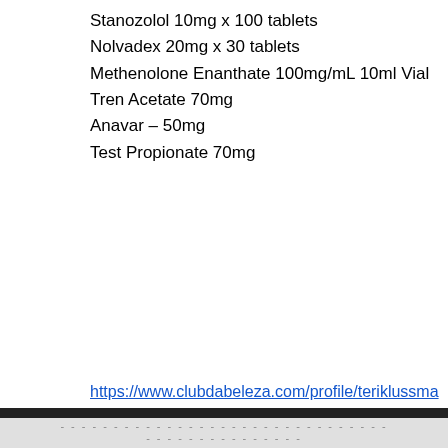Stanozolol 10mg x 100 tablets
Nolvadex 20mg x 30 tablets
Methenolone Enanthate 100mg/mL 10ml Vial
Tren Acetate 70mg
Anavar – 50mg
Test Propionate 70mg
https://www.clubdabeleza.com/profile/teriklussmann1913156/profile https://www.officialrise.org/profile/raymondmaranto740679/profile https://www.creationsbyomgnicki.com/profile/giovannibiernat28408/profile https://www.u-realestate.com/profile/jodyoblinger1442338/profile